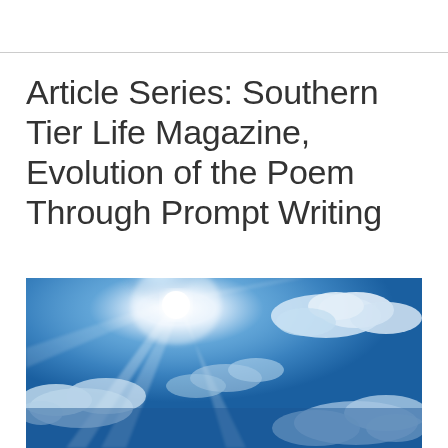Article Series: Southern Tier Life Magazine, Evolution of the Poem Through Prompt Writing
[Figure (photo): Bright blue sky with sun shining brightly in the upper center, light rays radiating outward, white cumulus clouds scattered across the sky]